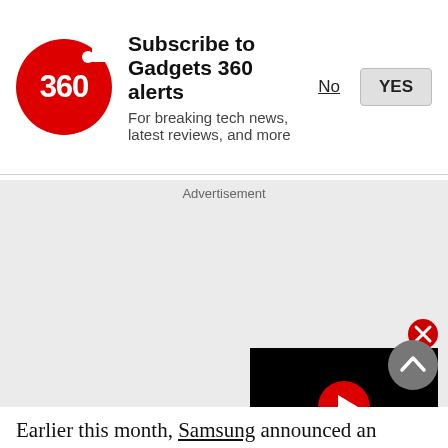[Figure (screenshot): Gadgets 360 notification subscription prompt with red circular logo showing '360', subscribe title, subtitle, No and YES buttons]
Advertisement
[Figure (screenshot): Video player with black background and red play button circle in center, with red X close button]
Earlier this month, Samsung announced an